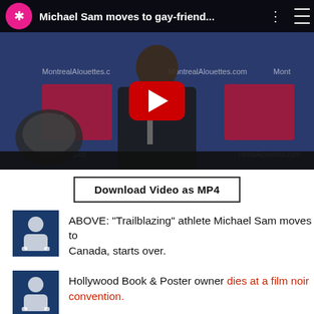[Figure (screenshot): YouTube video thumbnail showing Michael Sam at a Montreal Alouettes press conference, with a red play button overlay and title bar reading 'Michael Sam moves to gay-friend...']
Download Video as MP4
ABOVE: "Trailblazing" athlete Michael Sam moves to Canada, starts over.
Hollywood Book & Poster owner dies at a film noir convention.
Hilariously, Rick Santorum is running for president.